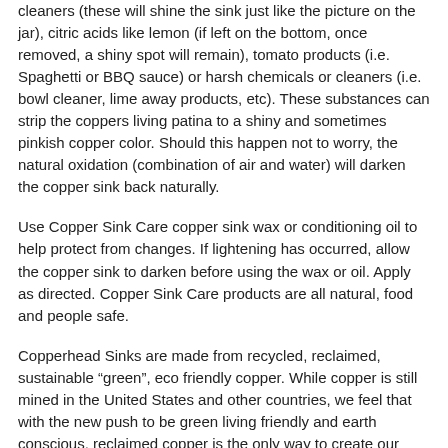cleaners (these will shine the sink just like the picture on the jar), citric acids like lemon (if left on the bottom, once removed, a shiny spot will remain), tomato products (i.e. Spaghetti or BBQ sauce) or harsh chemicals or cleaners (i.e. bowl cleaner, lime away products, etc). These substances can strip the coppers living patina to a shiny and sometimes pinkish copper color. Should this happen not to worry, the natural oxidation (combination of air and water) will darken the copper sink back naturally.
Use Copper Sink Care copper sink wax or conditioning oil to help protect from changes. If lightening has occurred, allow the copper sink to darken before using the wax or oil. Apply as directed. Copper Sink Care products are all natural, food and people safe.
Copperhead Sinks are made from recycled, reclaimed, sustainable “green”, eco friendly copper. While copper is still mined in the United States and other countries, we feel that with the new push to be green living friendly and earth conscious, reclaimed copper is the only way to create our copper sinks.
Reclaimed, recycled copper is one of the most recycled metals;